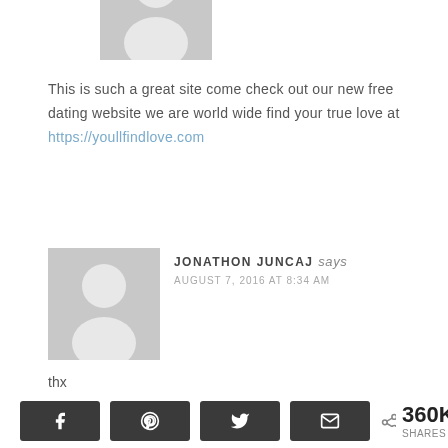[Figure (illustration): Gray placeholder avatar icon (cropped at top of page)]
This is such a great site come check out our new free dating website we are world wide find your true love at https://youllfindlove.com
[Figure (illustration): Gray placeholder avatar icon for Jonathon Juncaj]
JONATHON JUNCAJ says
AUGUST 7, 2016 AT 8:34 AM
thx
360K SHARES